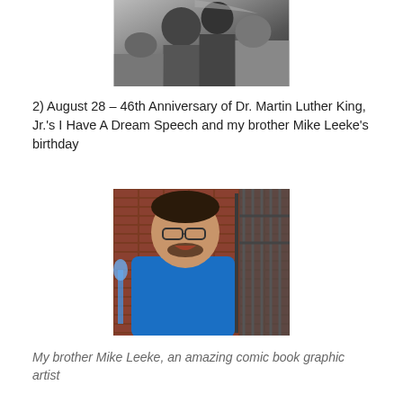[Figure (photo): Black and white photograph showing people, partially cropped at top of page]
2) August 28 – 46th Anniversary of Dr. Martin Luther King, Jr.'s I Have A Dream Speech and my brother Mike Leeke's birthday
[Figure (photo): Color photograph of a man wearing glasses and a blue t-shirt, smiling, standing in front of a brick wall with metal railings, speaking at a microphone]
My brother Mike Leeke, an amazing comic book graphic artist